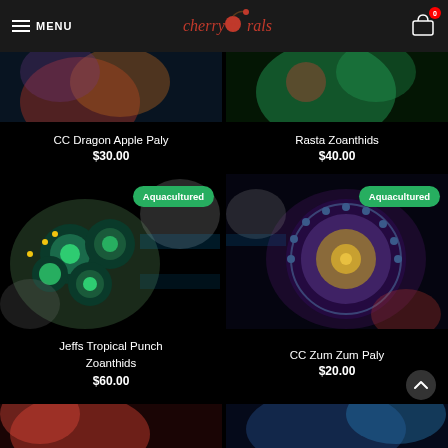MENU | cherry corals | Cart 0
[Figure (photo): Close-up photo of CC Dragon Apple Paly coral with orange and red coloring on dark background]
CC Dragon Apple Paly
$30.00
[Figure (photo): Close-up photo of Rasta Zoanthids coral with green coloring on dark background]
Rasta Zoanthids
$40.00
[Figure (photo): Close-up photo of Jeffs Tropical Punch Zoanthids coral with green, teal and yellow coloring, Aquacultured badge]
Jeffs Tropical Punch Zoanthids
$60.00
[Figure (photo): Close-up photo of CC Zum Zum Paly coral with blue, purple and gold coloring, Aquacultured badge]
CC Zum Zum Paly
$20.00
[Figure (photo): Partial view of coral bottom left]
[Figure (photo): Partial view of coral bottom right]